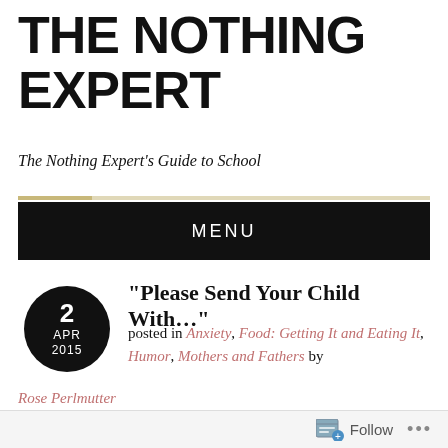THE NOTHING EXPERT
The Nothing Expert's Guide to School
MENU
“Please Send Your Child With…”
posted in Anxiety, Food: Getting It and Eating It, Humor, Mothers and Fathers by Rose Perlmutter